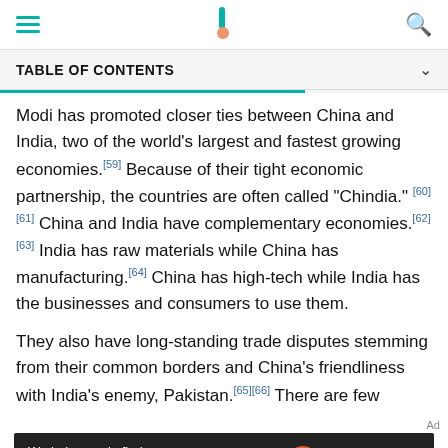Navigation bar with hamburger menu, logo, and search icon
TABLE OF CONTENTS
Modi has promoted closer ties between China and India, two of the world's largest and fastest growing economies.[59] Because of their tight economic partnership, the countries are often called "Chindia."[60][61] China and India have complementary economies.[62][63] India has raw materials while China has manufacturing.[64] China has high-tech while India has the businesses and consumers to use them.
They also have long-standing trade disputes stemming from their common borders and China's friendliness with India's enemy, Pakistan.[65][66] There are few
[Figure (other): Dotdash Meredith advertisement banner: 'We help people find answers, solve problems and get inspired.']